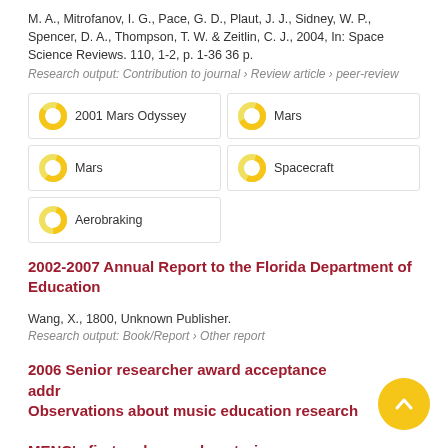M. A., Mitrofanov, I. G., Pace, G. D., Plaut, J. J., Sidney, W. P., Spencer, D. A., Thompson, T. W. & Zeitlin, C. J., 2004, In: Space Science Reviews. 110, 1-2, p. 1-36 36 p.
Research output: Contribution to journal › Review article › peer-review
2001 Mars Odyssey
Mars
Mars
Spacecraft
Aerobraking
2002-2007 Annual Report to the Florida Department of Education
Wang, X., 1800, Unknown Publisher.
Research output: Book/Report › Other report
2006 Senior researcher award acceptance address: Observations about music education research in MENC's first and second centuries